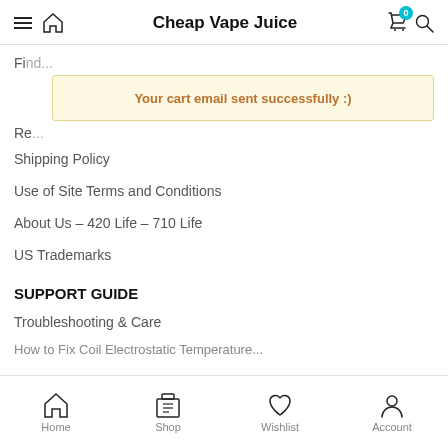Cheap Vape Juice
Your cart email sent successfully :)
Find...
Re...
Shipping Policy
Use of Site Terms and Conditions
About Us – 420 Life – 710 Life
US Trademarks
SUPPORT GUIDE
Troubleshooting & Care
How to Fix Coil Electrostatic Temperature...
Home  Shop  Wishlist  Account